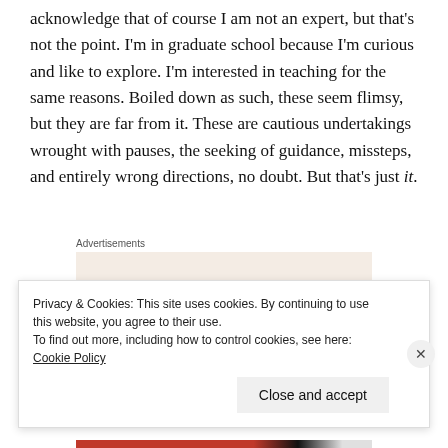acknowledge that of course I am not an expert, but that's not the point. I'm in graduate school because I'm curious and like to explore. I'm interested in teaching for the same reasons. Boiled down as such, these seem flimsy, but they are far from it. These are cautious undertakings wrought with pauses, the seeking of guidance, missteps, and entirely wrong directions, no doubt. But that's just it.
Advertisements
[Figure (other): Advertisement banner with text 'Need a website quickly –' on a light beige background]
Privacy & Cookies: This site uses cookies. By continuing to use this website, you agree to their use.
To find out more, including how to control cookies, see here: Cookie Policy
Close and accept